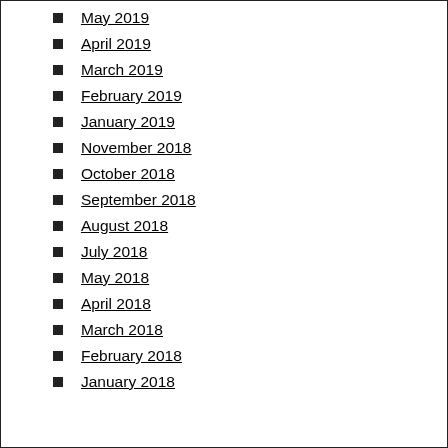May 2019
April 2019
March 2019
February 2019
January 2019
November 2018
October 2018
September 2018
August 2018
July 2018
May 2018
April 2018
March 2018
February 2018
January 2018